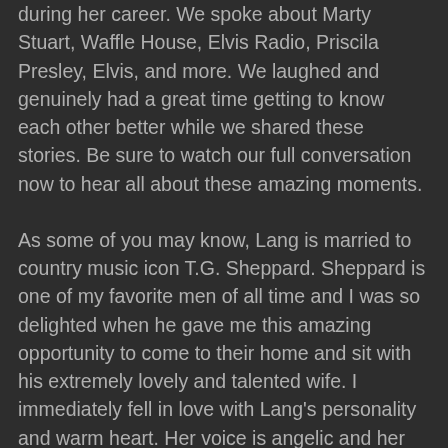during her career. We spoke about Marty Stuart, Waffle House, Elvis Radio, Priscila Presley, Elvis, and more. We laughed and genuinely had a great time getting to know each other better while we shared these stories. Be sure to watch our full conversation now to hear all about these amazing moments.
As some of you may know, Lang is married to country music icon T.G. Sheppard. Sheppard is one of my favorite men of all time and I was so delighted when he gave me this amazing opportunity to come to their home and sit with his extremely lovely and talented wife. I immediately fell in love with Lang's personality and warm heart. Her voice is angelic and her lyrics are